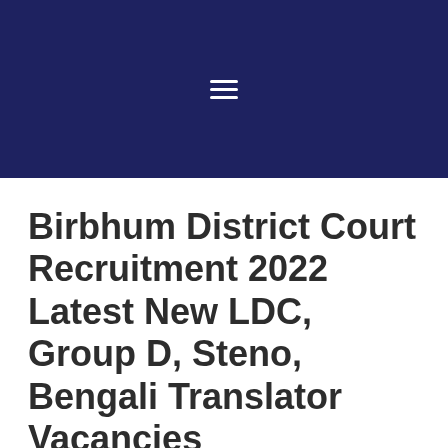Navigation header with hamburger menu icon
Birbhum District Court Recruitment 2022 Latest New LDC, Group D, Steno, Bengali Translator Vacancies
Leave a Comment